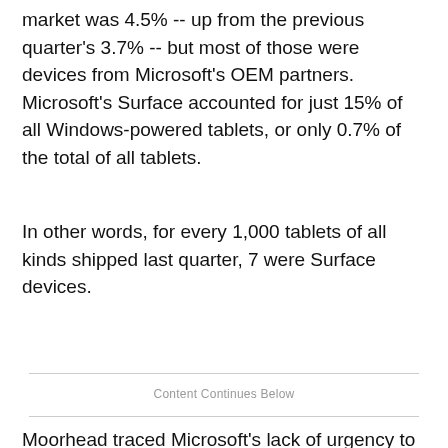market was 4.5% -- up from the previous quarter's 3.7% -- but most of those were devices from Microsoft's OEM partners. Microsoft's Surface accounted for just 15% of all Windows-powered tablets, or only 0.7% of the total of all tablets.
In other words, for every 1,000 tablets of all kinds shipped last quarter, 7 were Surface devices.
Content Continues Below
Moorhead traced Microsoft's lack of urgency to its inability to quickly shift strategy.